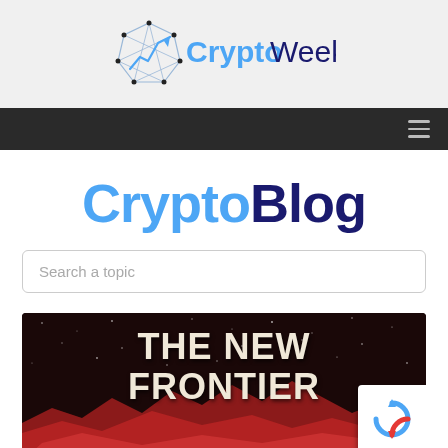CryptoWeekly
CryptoBlog
Search a topic
[Figure (illustration): Dark space/mountain landscape promotional image with bold white text reading 'THE NEW FRONTIER', with reddish mountain silhouettes at the bottom]